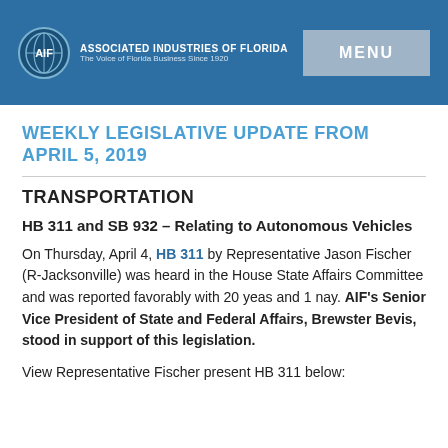ASSOCIATED INDUSTRIES OF FLORIDA — The Voice of Florida Business Since 1920 | MENU
WEEKLY LEGISLATIVE UPDATE FROM APRIL 5, 2019
TRANSPORTATION
HB 311 and SB 932 – Relating to Autonomous Vehicles
On Thursday, April 4, HB 311 by Representative Jason Fischer (R-Jacksonville) was heard in the House State Affairs Committee and was reported favorably with 20 yeas and 1 nay. AIF's Senior Vice President of State and Federal Affairs, Brewster Bevis, stood in support of this legislation.
View Representative Fischer present HB 311 below: